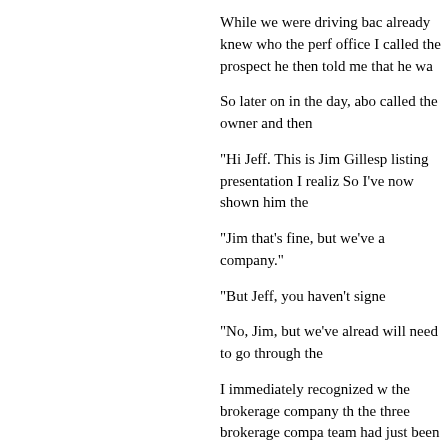While we were driving bac already knew who the perf office I called the prospect he then told me that he wa
So later on in the day, abo called the owner and then
"Hi Jeff. This is Jim Gillesp listing presentation I realiz So I've now shown him the
"Jim that's fine, but we've a company."
"But Jeff, you haven't signe
"No, Jim, but we've alread will need to go through the
I immediately recognized w the brokerage company th the three brokerage compa team had just been set up to help the owners do thei packages in their hands th they'd interviewed three di